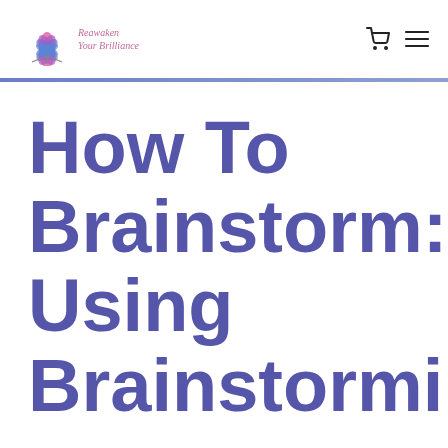Reawaken Your Brilliance
How To Brainstorm: Using Brainstorming